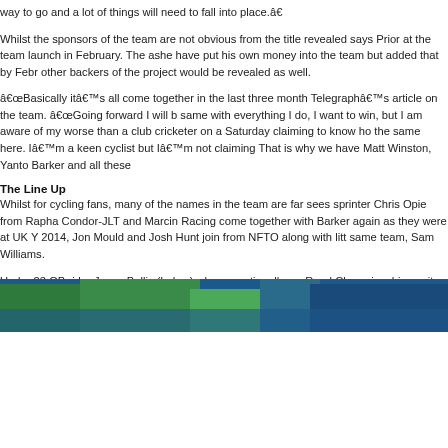way to go and a lot of things will need to fall into place.â€
Whilst the sponsors of the team are not obvious from the title revealed says Prior at the team launch in February. The ashe have put his own money into the team but added that by Febr other backers of the project would be revealed as well.
â€œBasically itâ€™s all come together in the last three month Telegraphâ€™s article on the team. â€œGoing forward I will b same with everything I do, I want to win, but I am aware of my worse than a club cricketer on a Saturday claiming to know ho the same here. Iâ€™m a keen cyclist but Iâ€™m not claiming That is why we have Matt Winston, Yanto Barker and all these
The Line Up
Whilst for cycling fans, many of the names in the team are far sees sprinter Chris Opie from Rapha Condor-JLT and Marcin Racing come together with Barker again as they were at UK Y 2014, Jon Mould and Josh Hunt join from NFTO along with litt same team, Sam Williams.
Under 23 GB rider Jonny Bellis (below) who sensationally wo Road Championships quite a few years ago now (2007), befo accident in Italy and never regaining that form, continues his c
[Figure (photo): Partial photo visible at the bottom of the page showing cyclists or a cycling-related scene with green and blue colors.]